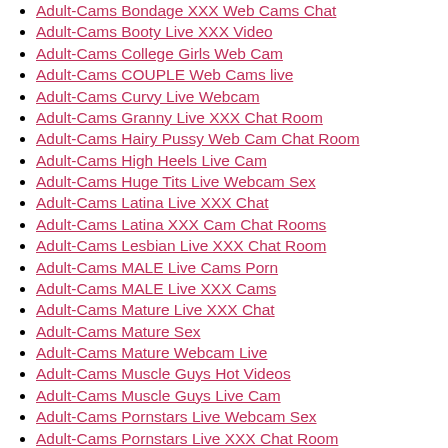Adult-Cams Bondage XXX Web Cams Chat
Adult-Cams Booty Live XXX Video
Adult-Cams College Girls Web Cam
Adult-Cams COUPLE Web Cams live
Adult-Cams Curvy Live Webcam
Adult-Cams Granny Live XXX Chat Room
Adult-Cams Hairy Pussy Web Cam Chat Room
Adult-Cams High Heels Live Cam
Adult-Cams Huge Tits Live Webcam Sex
Adult-Cams Latina Live XXX Chat
Adult-Cams Latina XXX Cam Chat Rooms
Adult-Cams Lesbian Live XXX Chat Room
Adult-Cams MALE Live Cams Porn
Adult-Cams MALE Live XXX Cams
Adult-Cams Mature Live XXX Chat
Adult-Cams Mature Sex
Adult-Cams Mature Webcam Live
Adult-Cams Muscle Guys Hot Videos
Adult-Cams Muscle Guys Live Cam
Adult-Cams Pornstars Live Webcam Sex
Adult-Cams Pornstars Live XXX Chat Room
Adult-Cams Pornstars Web Cam
Adult-Cams Redhead Live XXX Chat Room
Adult-Cams Shaved Pussy Live Cam
Adult-Cams Small Tits Live XXX Chat
Adult-Cams Small Tits Live XXX Chat R...